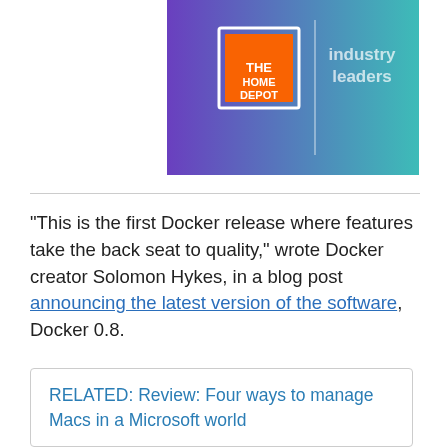[Figure (screenshot): Partial banner image showing The Home Depot logo on a purple-to-teal gradient background with text 'industry leaders']
"This is the first Docker release where features take the back seat to quality," wrote Docker creator Solomon Hykes, in a blog post announcing the latest version of the software, Docker 0.8.
RELATED: Review: Four ways to manage Macs in a Microsoft world
"Some of the companies using Docker are looking to put [the software] into mission-critical roles, so we want to make sure it is of high quality as possible,"